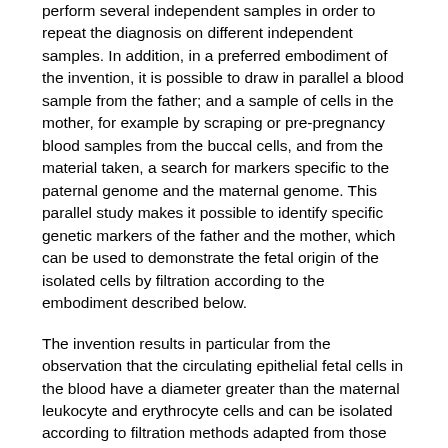perform several independent samples in order to repeat the diagnosis on different independent samples. In addition, in a preferred embodiment of the invention, it is possible to draw in parallel a blood sample from the father; and a sample of cells in the mother, for example by scraping or pre-pregnancy blood samples from the buccal cells, and from the material taken, a search for markers specific to the paternal genome and the maternal genome. This parallel study makes it possible to identify specific genetic markers of the father and the mother, which can be used to demonstrate the fetal origin of the isolated cells by filtration according to the embodiment described below.
The invention results in particular from the observation that the circulating epithelial fetal cells in the blood have a diameter greater than the maternal leukocyte and erythrocyte cells and can be isolated according to filtration methods adapted from those described for the isolation of circulating pathogenic cells in blood such as those described in the patent application FR 2782730 .
Thus, according to the method of the invention, the blood sample taken is filtered so as to concentrate on the filter, according to their size, certain circulating cells of fetal or